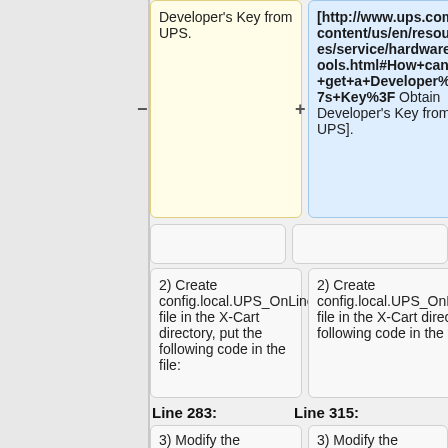Developer's Key from UPS.
[http://www.ups.com/content/us/en/resources/service/hardware/tools.html#How+can+I+get+a+Developer%27s+Key%3F Obtain Developer's Key from UPS].
2) Create config.local.UPS_OnLine_Tools.php file in the X-Cart directory, put the following code in the file:
2) Create config.local.UPS_OnLine_Tools.php file in the X-Cart directory, put the following code in the file:
Line 283:
Line 315:
3) Modify the
3) Modify the